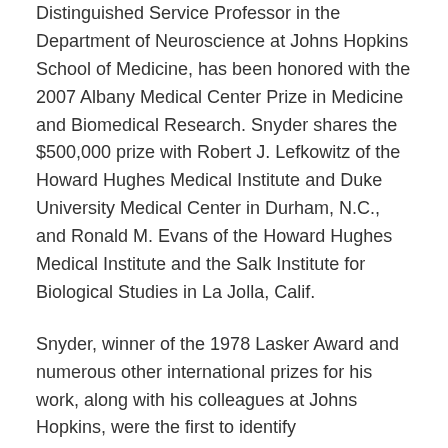Distinguished Service Professor in the Department of Neuroscience at Johns Hopkins School of Medicine, has been honored with the 2007 Albany Medical Center Prize in Medicine and Biomedical Research. Snyder shares the $500,000 prize with Robert J. Lefkowitz of the Howard Hughes Medical Institute and Duke University Medical Center in Durham, N.C., and Ronald M. Evans of the Howard Hughes Medical Institute and the Salk Institute for Biological Studies in La Jolla, Calif.
Snyder, winner of the 1978 Lasker Award and numerous other international prizes for his work, along with his colleagues at Johns Hopkins, were the first to identify neurochemical receptors in the brain that control and manage pleasure and pain perception. Specifically, he identified opiate receptors, which are the targets of morphine and codeine, as well as heroin and other drugs of abuse.
Before Snyder's groundbreaking research, scientists and clinicians knew what opiates did, but no one knew how they